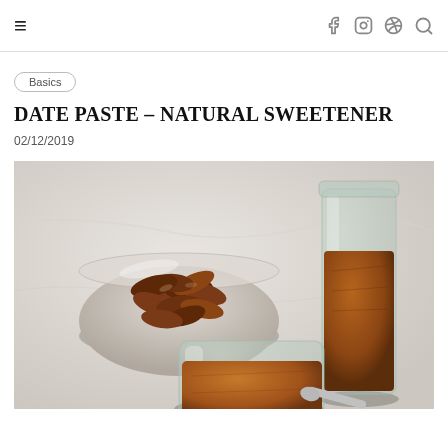≡  f  ⊙  ⊕  🔍
Basics
DATE PASTE – NATURAL SWEETENER
02/12/2019
[Figure (photo): Overhead photo of dates in a glass bowl, a tall glass jar with dark brown date paste, and a front glass jar with lighter caramel-colored date paste, arranged on a light marble surface.]